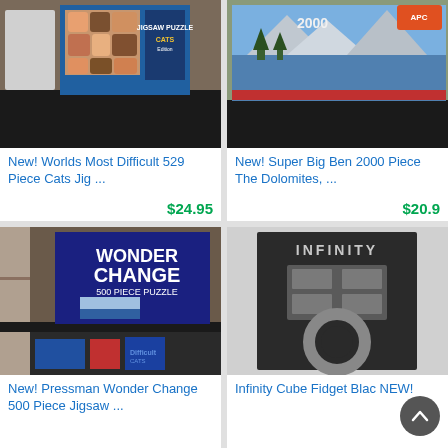[Figure (photo): Photo of jigsaw puzzle box - Worlds Most Difficult 529 Piece Cats edition on a black shelf]
New! Worlds Most Difficult 529 Piece Cats Jig ...
$24.95
[Figure (photo): Photo of Super Big Ben 2000 piece The Dolomites puzzle box showing mountain landscape]
New! Super Big Ben 2000 Piece The Dolomites, ...
$20.9
[Figure (photo): Photo of Pressman Wonder Change 500 Piece Puzzle box on a shelf with other puzzles below]
New! Pressman Wonder Change 500 Piece Jigsaw ...
[Figure (photo): Photo of Infinity Cube Fidget toy in black packaging with INFINITY text at top]
Infinity Cube Fidget Blac NEW!